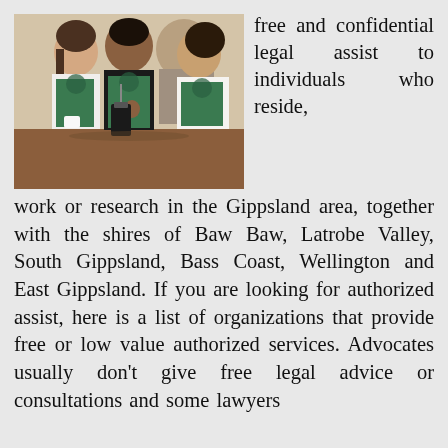[Figure (photo): Three Starbucks baristas in green aprons sitting around a table with coffee cups and a French press, smiling and talking.]
free and confidential legal assist to individuals who reside, work or research in the Gippsland area, together with the shires of Baw Baw, Latrobe Valley, South Gippsland, Bass Coast, Wellington and East Gippsland. If you are looking for authorized assist, here is a list of organizations that provide free or low value authorized services. Advocates usually don't give free legal advice or consultations and some lawyers